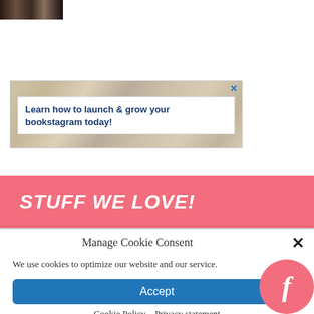[Figure (photo): Small thumbnail photo of people, dark tones, positioned at top left]
[Figure (infographic): Advertisement banner with marble/stone textured background and close button. Text reads: Learn how to launch & grow your bookstagram today!]
STUFF WE LOVE!
Manage Cookie Consent
We use cookies to optimize our website and our service.
Accept
Cookie Policy   Privacy statement